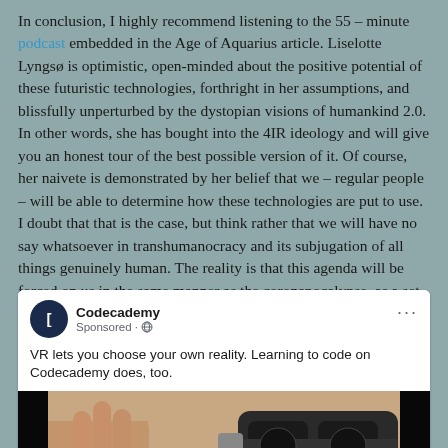In conclusion, I highly recommend listening to the 55 – minute podcast embedded in the Age of Aquarius article. Liselotte Lyngsø is optimistic, open-minded about the positive potential of these futuristic technologies, forthright in her assumptions, and blissfully unperturbed by the dystopian visions of humankind 2.0. In other words, she has bought into the 4IR ideology and will give you an honest tour of the best possible version of it. Of course, her naivete is demonstrated by her belief that we – regular people – will be able to determine how these technologies are put to use. I doubt that that is the case, but think rather that we will have no say whatsoever in transhumanocracy and its subjugation of all things genuinely human. The reality is that this agenda will be forced on us in the same manner as the coronapocalypse, as a set of VR goggles, and so many other titanic programs of domination.
[Figure (screenshot): Facebook sponsored post from Codecademy. Header shows Codecademy logo (dark circle with bracket icon), name 'Codecademy', 'Sponsored' label with globe icon, and three dots menu. Tagline reads: 'VR lets you choose your own reality. Learning to code on Codecademy does, too.' Below is an image showing a person's hand and a VR headset on a dark background.]